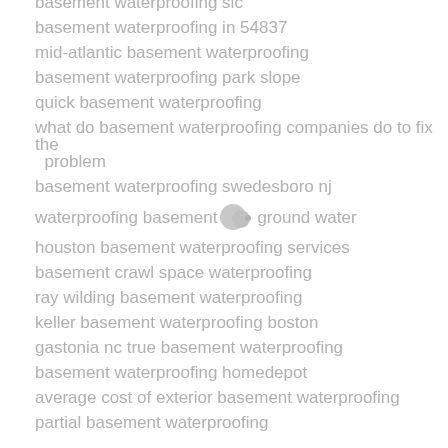basement waterproofing slc
basement waterproofing in 54837
mid-atlantic basement waterproofing
basement waterproofing park slope
quick basement waterproofing
what do basement waterproofing companies do to fix the problem
basement waterproofing swedesboro nj
waterproofing basement vs underground water
houston basement waterproofing services
basement crawl space waterproofing
ray wilding basement waterproofing
keller basement waterproofing boston
gastonia nc true basement waterproofing
basement waterproofing homedepot
average cost of exterior basement waterproofing
partial basement waterproofing